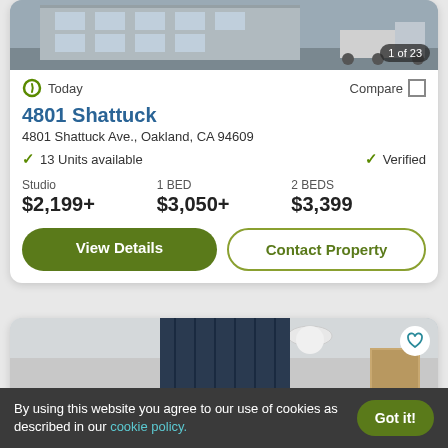[Figure (photo): Street-level photo of apartment building exterior with truck visible, '1 of 23' counter in bottom-right corner]
Today
Compare
4801 Shattuck
4801 Shattuck Ave., Oakland, CA 94609
13 Units available
Verified
Studio
$2,199+
1 BED
$3,050+
2 BEDS
$3,399
View Details
Contact Property
[Figure (photo): Interior photo of an apartment room with dark blue curtains and a ceiling light fixture]
By using this website you agree to our use of cookies as described in our cookie policy.
Got it!